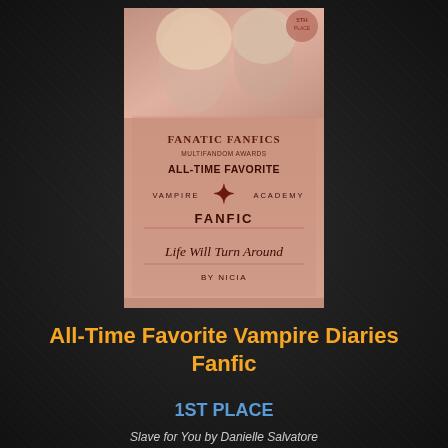[Figure (illustration): Award certificate/badge with salmon/rose gold color. Shows 'Fanatic Fanfics Multifandom Awards - All-Time Favorite - Vampire Academy Fanfic - Life Will Turn Around - By Nicia'. Background shows two blond women. Has a decorative VA logo monogram.]
All-Time Favorite Vampire Diaries Fanfic
1ST PLACE
Slave for You by Danielle Salvatore